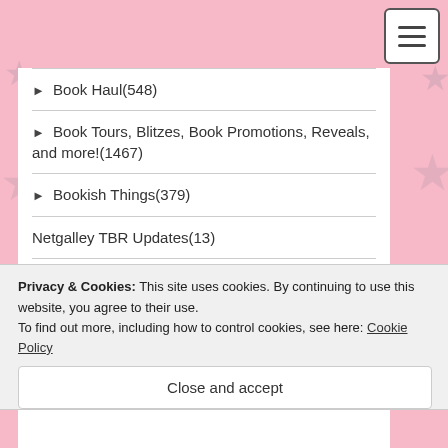[Figure (other): Hamburger menu button (three horizontal lines) in top-right corner]
► Book Haul(548)
► Book Tours, Blitzes, Book Promotions, Reveals, and more!(1467)
► Bookish Things(379)
Netgalley TBR Updates(13)
► Quotes(425)
► Recommendations(96)
Privacy & Cookies: This site uses cookies. By continuing to use this website, you agree to their use.
To find out more, including how to control cookies, see here: Cookie Policy
Close and accept